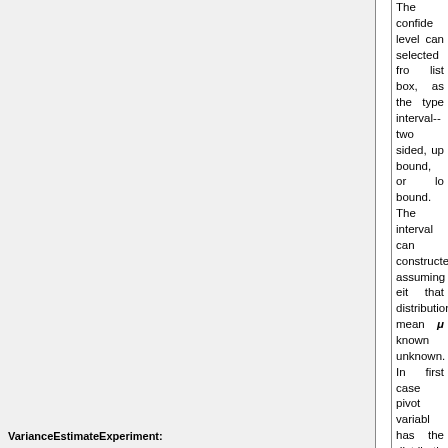The confidence level can be selected from a list box, as can the type of interval--two-sided, upper bound, or lower bound. The interval can be constructed assuming either that distribution mean μ is known or unknown. In the first case the pivot variable has the distribution with n degrees of freedom; in the second case
VarianceEstimateExperiment: